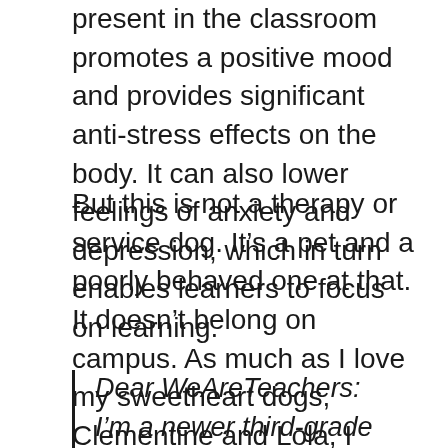present in the classroom promotes a positive mood and provides significant anti-stress effects on the body. It can also lower feelings of anxiety and depression, which in turn enables learners to focus on learning.
But this is not a therapy or service dog. It’s a pet and a poorly behaved one at that. It doesn’t belong on campus. As much as I love my sweetheart dogs, Clementine and Lola, I wouldn’t bring them to work. That would feel inconsiderate and demonstrate a lack of situational awareness on my part.
Dear WeAreTeachers:
I’m a newer third-grade teacher,